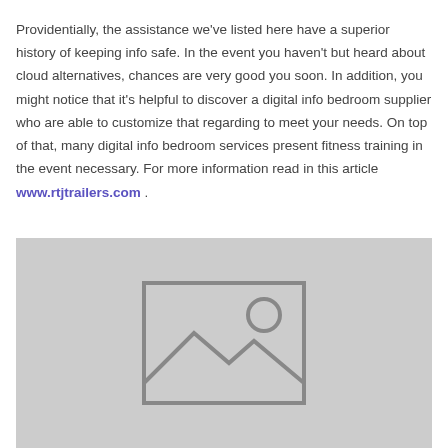Providentially, the assistance we've listed here have a superior history of keeping info safe. In the event you haven't but heard about cloud alternatives, chances are very good you soon. In addition, you might notice that it's helpful to discover a digital info bedroom supplier who are able to customize that regarding to meet your needs. On top of that, many digital info bedroom services present fitness training in the event necessary. For more information read in this article www.rtjtrailers.com .
[Figure (illustration): Placeholder image with a grey background showing a generic image icon (mountain/landscape with sun circle) outlined in dark grey.]